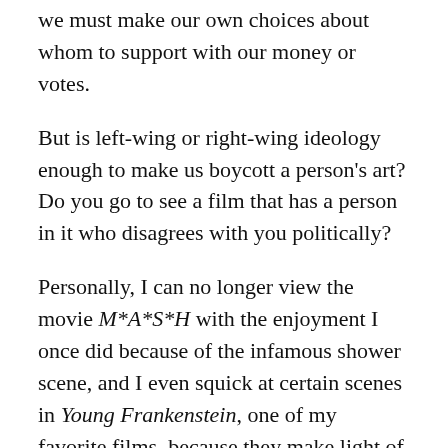we must make our own choices about whom to support with our money or votes.
But is left-wing or right-wing ideology enough to make us boycott a person's art? Do you go to see a film that has a person in it who disagrees with you politically?
Personally, I can no longer view the movie M*A*S*H with the enjoyment I once did because of the infamous shower scene, and I even squick at certain scenes in Young Frankenstein, one of my favorite films, because they make light of rape. But I can't deny that they are great films and I don't boycott the works of their creators.
What should we think about the flawed artist? Do we call them out for racism or sexism, for example, or continue to enjoy their art? Or somehow manage to do both? Perhaps we can no longer enter into that person's art with the joy that we once did, or perhaps we might prefer not to expose